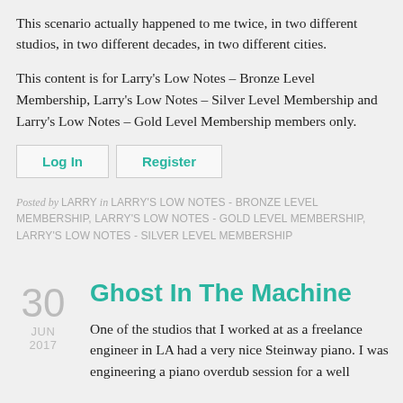This scenario actually happened to me twice, in two different studios, in two different decades, in two different cities.
This content is for Larry's Low Notes – Bronze Level Membership, Larry's Low Notes – Silver Level Membership and Larry's Low Notes – Gold Level Membership members only.
Log In   Register
Posted by LARRY in LARRY'S LOW NOTES - BRONZE LEVEL MEMBERSHIP, LARRY'S LOW NOTES - GOLD LEVEL MEMBERSHIP, LARRY'S LOW NOTES - SILVER LEVEL MEMBERSHIP
Ghost In The Machine
One of the studios that I worked at as a freelance engineer in LA had a very nice Steinway piano. I was engineering a piano overdub session for a well